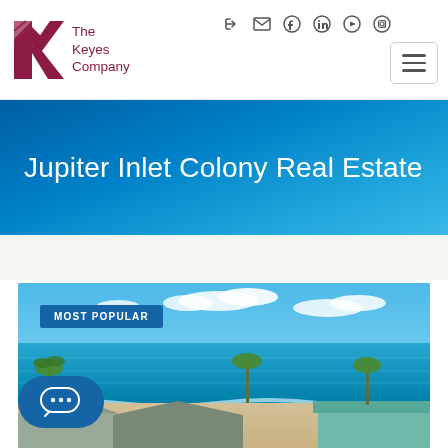[Figure (logo): The Keyes Company logo with red/maroon K graphic and text]
[Figure (screenshot): Navigation icons: login, email, facebook, linkedin, youtube, instagram]
[Figure (other): Hamburger menu button (three horizontal lines in a rounded rectangle)]
Jupiter Inlet Colony Real Estate
[Figure (photo): Aerial/elevated photo of beachfront homes with turquoise ocean, white sand beach, palm trees and blue sky with clouds. Badge reads MOST POPULAR.]
[Figure (other): Blue chat bubble button with three dots]